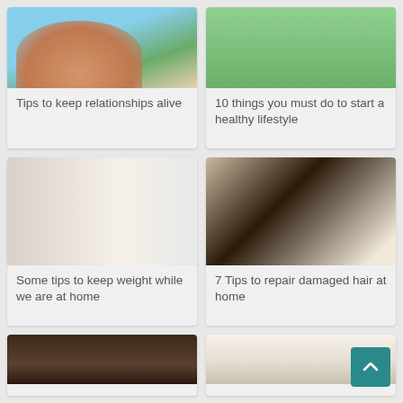[Figure (photo): Couple smiling outdoors with blue sky background]
Tips to keep relationships alive
[Figure (photo): Young woman holding an apple lying on green grass]
10 things you must do to start a healthy lifestyle
[Figure (photo): Woman sitting on sofa using a laptop near a radiator]
Some tips to keep weight while we are at home
[Figure (photo): Woman with long flowing dark hair beauty portrait]
7 Tips to repair damaged hair at home
[Figure (photo): Partial view of dark image at bottom left]
[Figure (photo): Partial view of food/plate image at bottom right]